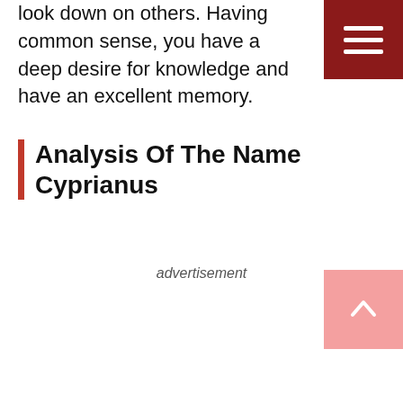look down on others. Having common sense, you have a deep desire for knowledge and have an excellent memory.
Analysis Of The Name Cyprianus
advertisement